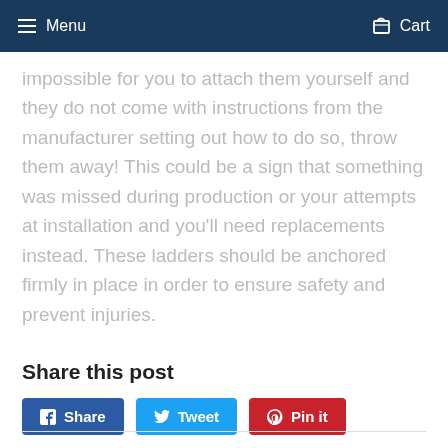Menu  Cart
impossible for you to attach them yourself and they do not come with instructions from the manufacturer setting out how to do so, throw them away! This could be a sign that something was missed during production or your attempts at installation and you'll need replacements instead. These ladders should be anchored firmly in place in order to ensure safety and prevent injuries.
Share this post
Share  Tweet  Pin it